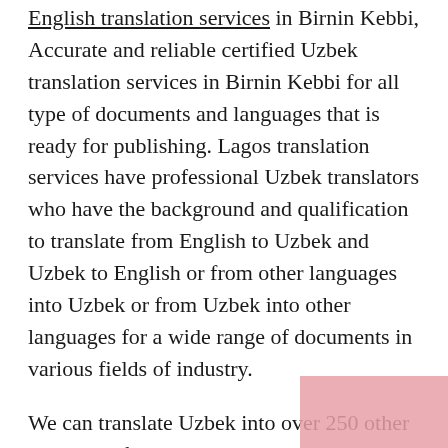English translation services in Birnin Kebbi, Accurate and reliable certified Uzbek translation services in Birnin Kebbi for all type of documents and languages that is ready for publishing. Lagos translation services have professional Uzbek translators who have the background and qualification to translate from English to Uzbek and Uzbek to English or from other languages into Uzbek or from Uzbek into other languages for a wide range of documents in various fields of industry.
We can translate Uzbek into over 250 other languages for you! Lagos translation services offers worldwide translation services at great prices. Lagos translation services employs certified Uzbek translators who have provided hundreds of clients with premium quality technical translation, each tailored to meet the client's needs. We review each translation carefully to ensure that it meets the quality standards required of our clients. We also use this same